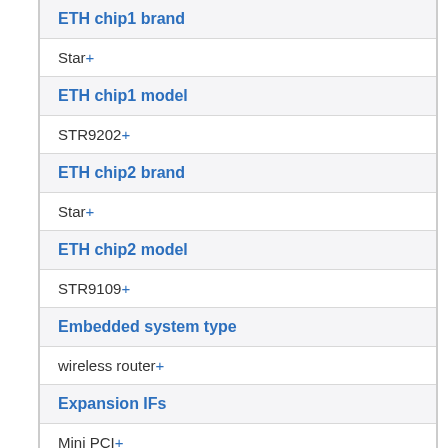ETH chip1 brand
Star+
ETH chip1 model
STR9202+
ETH chip2 brand
Star+
ETH chip2 model
STR9109+
Embedded system type
wireless router+
Expansion IFs
Mini PCI+
FCC ID